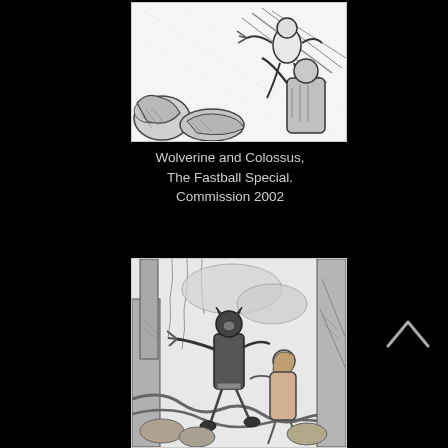[Figure (illustration): Black and white pencil/ink comic art sketch of Wolverine being thrown by Colossus (the Fastball Special). Dynamic action pose with energy lines.]
Wolverine and Colossus, The Fastball Special. Commission 2002
[Figure (illustration): Black and white ink comic art of Wolverine in costume lunging forward with claws out, accompanied by a female character, set in a jungle/forest environment with large tree roots.]